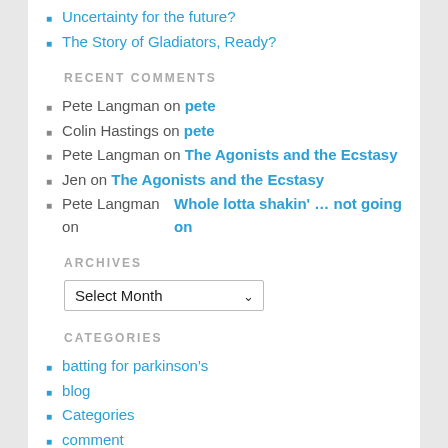Uncertainty for the future?
The Story of Gladiators, Ready?
RECENT COMMENTS
Pete Langman on pete
Colin Hastings on pete
Pete Langman on The Agonists and the Ecstasy
Jen on The Agonists and the Ecstasy
Pete Langman on Whole lotta shakin' … not going on
ARCHIVES
Select Month (dropdown)
CATEGORIES
batting for parkinson's
blog
Categories
comment
cricket
features